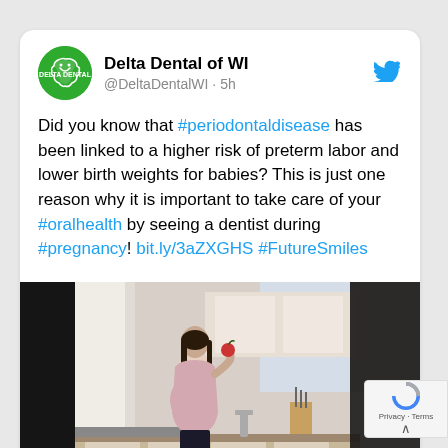Delta Dental of WI @DeltaDentalWI · 5h
Did you know that #periodontaldisease has been linked to a higher risk of preterm labor and lower birth weights for babies? This is just one reason why it is important to take care of your #oralhealth by seeing a dentist during #pregnancy! bit.ly/3aZXGHS #FutureSmiles
[Figure (photo): A pregnant woman standing in a bright modern kitchen, viewed from the side, holding an apple near her mouth. She is wearing a light pink top and dark pants. The kitchen has white cabinetry and curtains.]
deltadentalwiblog.com
Debunking the myth that pregnant